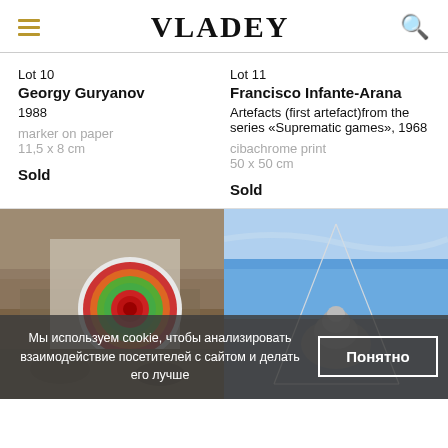VLADEY
Lot 10
Georgy Guryanov
1988
marker on paper
11,5 x 8 cm
Sold
Lot 11
Francisco Infante-Arana
Artefacts (first artefact)from the series «Suprematic games», 1968
cibachrome print
50 x 50 cm
Sold
[Figure (photo): Outdoor rocky/sandy landscape with a colorful concentric-circle artwork placed against a wall or surface]
[Figure (photo): Blue sky with rocks and a triangular geometric installation or sculpture outline]
Мы используем cookie, чтобы анализировать взаимодействие посетителей с сайтом и делать его лучше
Понятно